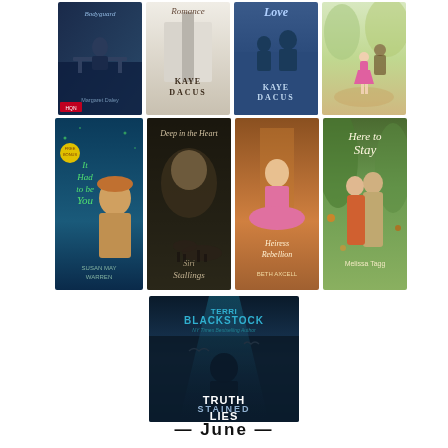[Figure (illustration): Grid of 9 romance/fiction book covers arranged in 3 rows: Row 1 (4 books): 'Bodyguard' by Margaret Daley, 'Romance' by Kaye Dacus, 'Love' by Kaye Dacus, and an unlabeled cover with a child in pink. Row 2 (4 books): 'It Had to be You' by Susan May Warren, 'Deep in the Heart' by Siri Stallings, 'Heiress Rebellion' by Beth Axcell, 'Here to Stay' by Melissa Tagg. Row 3 (1 book, centered): 'Truth Stained Lies' by Terri Blackstock.]
— June —